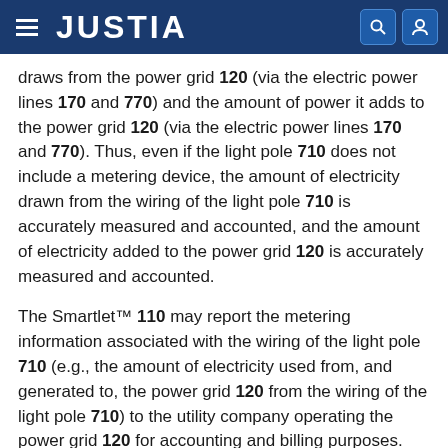JUSTIA
draws from the power grid 120 (via the electric power lines 170 and 770) and the amount of power it adds to the power grid 120 (via the electric power lines 170 and 770). Thus, even if the light pole 710 does not include a metering device, the amount of electricity drawn from the wiring of the light pole 710 is accurately measured and accounted, and the amount of electricity added to the power grid 120 is accurately measured and accounted.
The Smartlet™ 110 may report the metering information associated with the wiring of the light pole 710 (e.g., the amount of electricity used from, and generated to, the power grid 120 from the wiring of the light pole 710) to the utility company operating the power grid 120 for accounting and billing purposes. For example, in one embodiment of the invention, the Smartlet™ 110 reports the metering information associated with the wiring of